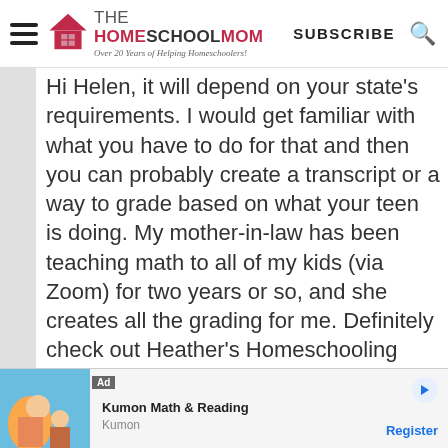THE HOMESCHOOL MOM — Over 20 Years of Helping Homeschoolers! | SUBSCRIBE
Hi Helen, it will depend on your state's requirements. I would get familiar with what you have to do for that and then you can probably create a transcript or a way to grade based on what your teen is doing. My mother-in-law has been teaching math to all of my kids (via Zoom) for two years or so, and she creates all the grading for me. Definitely check out Heather's Homeschooling High School By Design course that I
[Figure (other): Advertisement banner for Kumon Math & Reading with image of child and adult studying together]